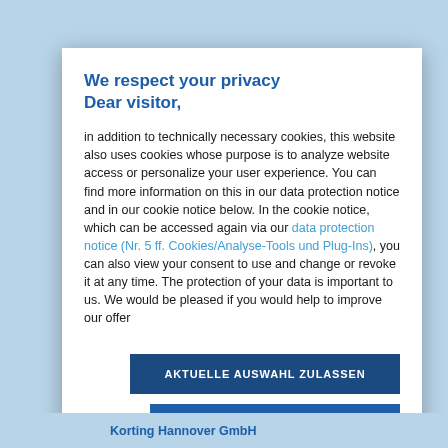We respect your privacy
Dear visitor,
in addition to technically necessary cookies, this website also uses cookies whose purpose is to analyze website access or personalize your user experience. You can find more information on this in our data protection notice and in our cookie notice below. In the cookie notice, which can be accessed again via our data protection notice (Nr. 5 ff. Cookies/Analyse-Tools und Plug-Ins), you can also view your consent to use and change or revoke it at any time. The protection of your data is important to us. We would be pleased if you would help to improve our offer
AKTUELLE AUSWAHL ZULASSEN
ALLE COOKIES ZULASSEN
Legal info   Data protection notice
Korting Hannover GmbH